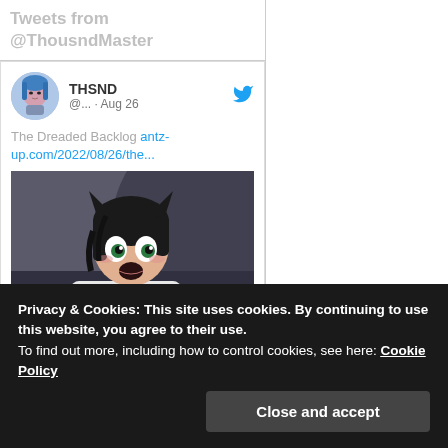Tweets from @ThousndMaster
THSND @... · Aug 26
The Dreaded Backlog antz-up.com/2022/08/26/the...
[Figure (illustration): Anime character with black hair and wide open eyes, wearing a school uniform, looking shocked or scared]
Privacy & Cookies: This site uses cookies. By continuing to use this website, you agree to their use.
To find out more, including how to control cookies, see here: Cookie Policy
Close and accept